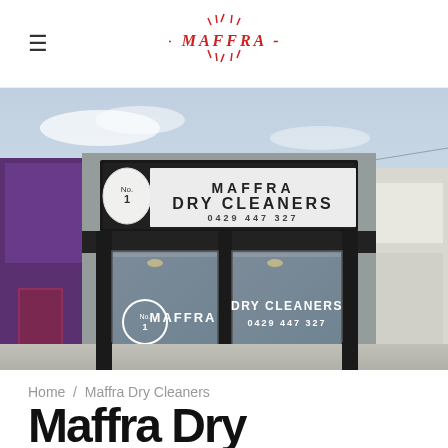≡  - MAFFRA -
[Figure (photo): Exterior photograph of Maffra Dry Cleaners storefront. A shopfront with a dark signage board reading 'MAFFRA DRY CLEANERS No. 1, 0429 447 327'. The building has grey brick walls, large glass windows with the same text repeated, dark columns, and a canopy. Neighboring buildings are visible on either side.]
Home / Maffra Dry Cleaners
Maffra Dry